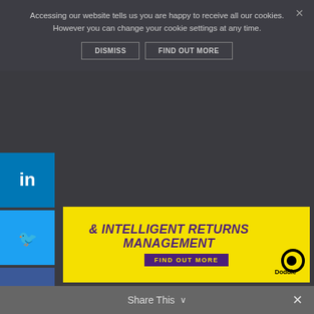Accessing our website tells us you are happy to receive all our cookies. However you can change your cookie settings at any time.
DISMISS   FIND OUT MORE
[Figure (screenshot): Yellow advertisement banner for Doddle with text '& INTELLIGENT RETURNS MANAGEMENT' and 'FIND OUT MORE' button]
Menu
PUDO Customer Experience
Reducing Delivery Costs
Becoming More Sustainable
VOTE NOW
Share This  ∨   ×